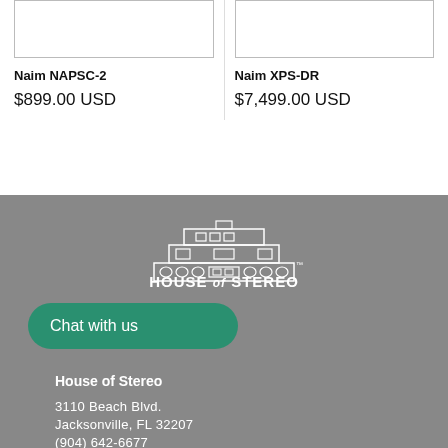[Figure (photo): Product image placeholder for Naim NAPSC-2]
Naim NAPSC-2
$899.00 USD
[Figure (photo): Product image placeholder for Naim XPS-DR]
Naim XPS-DR
$7,499.00 USD
[Figure (logo): House of Stereo logo - building illustration with text HOUSE of STEREO]
Chat with us
House of Stereo
3110 Beach Blvd.
Jacksonville, FL 32207
(904) 642-6677